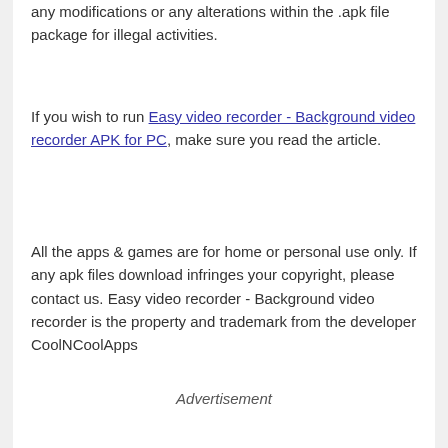any modifications or any alterations within the .apk file package for illegal activities.
If you wish to run Easy video recorder - Background video recorder APK for PC, make sure you read the article.
All the apps & games are for home or personal use only. If any apk files download infringes your copyright, please contact us. Easy video recorder - Background video recorder is the property and trademark from the developer CoolNCoolApps
Advertisement